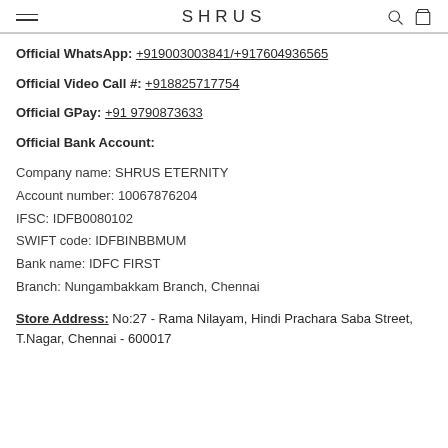SHRUS
Official WhatsApp: +919003003841/+917604936565
Official Video Call #: +918825717754
Official GPay: +91 9790873633
Official Bank Account:
Company name: SHRUS ETERNITY
Account number: 10067876204
IFSC: IDFB0080102
SWIFT code: IDFBINBBMUM
Bank name: IDFC FIRST
Branch: Nungambakkam Branch, Chennai
Store Address: No:27 - Rama Nilayam, Hindi Prachara Saba Street, T.Nagar, Chennai - 600017